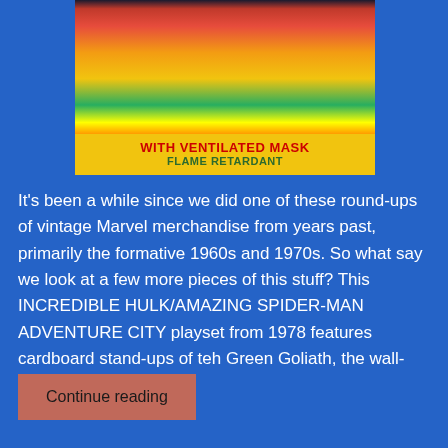[Figure (photo): Top portion of a vintage Marvel comic/toy product package showing colorful artwork with characters, a yellow banner reading 'WITH VENTILATED MASK' in red and 'FLAME RETARDANT' in green]
It's been a while since we did one of these round-ups of vintage Marvel merchandise from years past, primarily the formative 1960s and 1970s. So what say we look at a few more pieces of this stuff? This INCREDIBLE HULK/AMAZING SPIDER-MAN ADVENTURE CITY playset from 1978 features cardboard stand-ups of teh Green Goliath, the wall-crawler ...
Continue reading